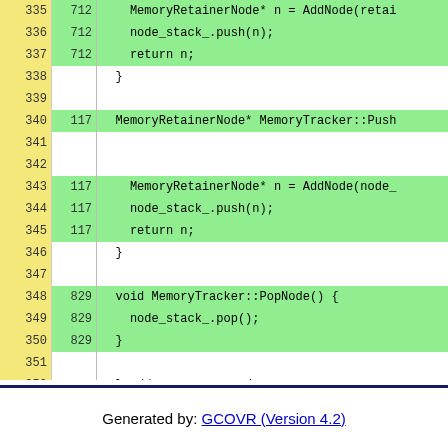[Figure (screenshot): Code coverage view showing lines 335-356 of a C++ source file with line numbers, coverage counts, and highlighted code. Green highlights indicate covered lines. Lines include MemoryRetainerNode, MemoryTracker::Push, MemoryTracker::PopNode, namespace node closing brace, and #endif preprocessor directives.]
Generated by: GCOVR (Version 4.2)